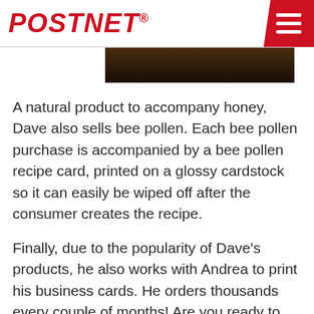PostNet
[Figure (photo): Partial dark brown image strip visible at top of content area]
A natural product to accompany honey, Dave also sells bee pollen. Each bee pollen purchase is accompanied by a bee pollen recipe card, printed on a glossy cardstock so it can easily be wiped off after the consumer creates the recipe.
Finally, due to the popularity of Dave’s products, he also works with Andrea to print his business cards. He orders thousands every couple of months! Are you ready to craft effective marketing tactics to help your business thrive? Let your local PostNet help! Find a PostNet near you.